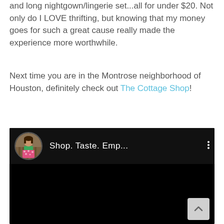and long nightgown/lingerie set...all for under $20. Not only do I LOVE thrifting, but knowing that my money goes for such a great cause really made the experience more worthwhile.
Next time you are in the Montrose neighborhood of Houston, definitely check out The Cottage Shop!
[Figure (screenshot): Embedded video thumbnail with black background showing a YouTube-style video player. Header shows a circular avatar photo of a woman in a green top and floral skirt, with the title 'Shop. Taste. Emp...' and a vertical three-dot menu icon.]